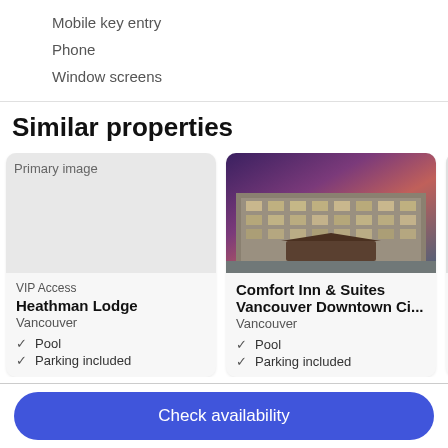Mobile key entry
Phone
Window screens
Similar properties
[Figure (photo): Placeholder image icon labeled 'Primary image' for Heathman Lodge hotel card]
VIP Access
Heathman Lodge
Vancouver
✓ Pool
✓ Parking included
[Figure (photo): Photo of Comfort Inn & Suites hotel exterior at dusk with purple/pink sky]
Comfort Inn & Suites Vancouver Downtown Ci...
Vancouver
✓ Pool
✓ Parking included
Check availability